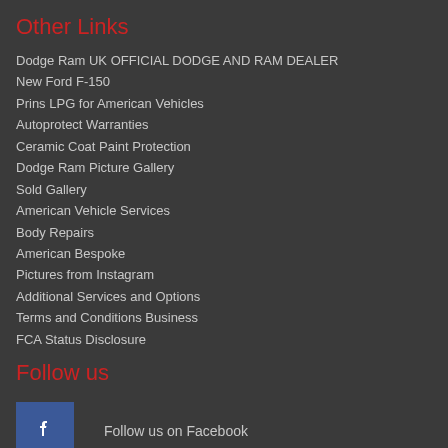Other Links
Dodge Ram UK OFFICIAL DODGE AND RAM DEALER
New Ford F-150
Prins LPG for American Vehicles
Autoprotect Warranties
Ceramic Coat Paint Protection
Dodge Ram Picture Gallery
Sold Gallery
American Vehicle Services
Body Repairs
American Bespoke
Pictures from Instagram
Additional Services and Options
Terms and Conditions Business
FCA Status Disclosure
Follow us
Follow us on Facebook